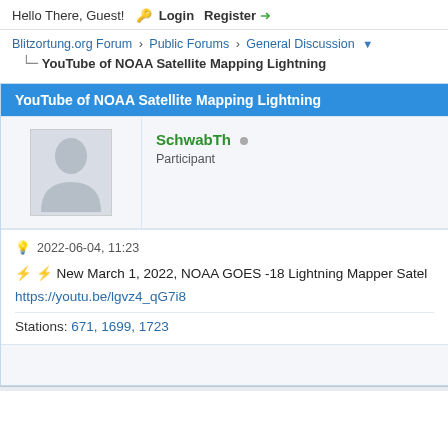Hello There, Guest! Login Register
Blitzortung.org Forum › Public Forums › General Discussion
YouTube of NOAA Satellite Mapping Lightning
YouTube of NOAA Satellite Mapping Lightning
SchwabTh Participant
2022-06-04, 11:23
⚡ ⚡ New March 1, 2022, NOAA GOES -18 Lightning Mapper Satel
https://youtu.be/lgvz4_qG7i8
Stations: 671, 1699, 1723